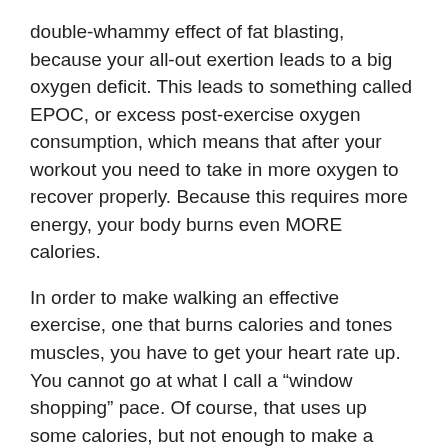double-whammy effect of fat blasting, because your all-out exertion leads to a big oxygen deficit. This leads to something called EPOC, or excess post-exercise oxygen consumption, which means that after your workout you need to take in more oxygen to recover properly. Because this requires more energy, your body burns even MORE calories.
In order to make walking an effective exercise, one that burns calories and tones muscles, you have to get your heart rate up. You cannot go at what I call a “window shopping” pace. Of course, that uses up some calories, but not enough to make a difference. You have to move at a rate that forces you to breathe a bit harder than just going for a stroll.